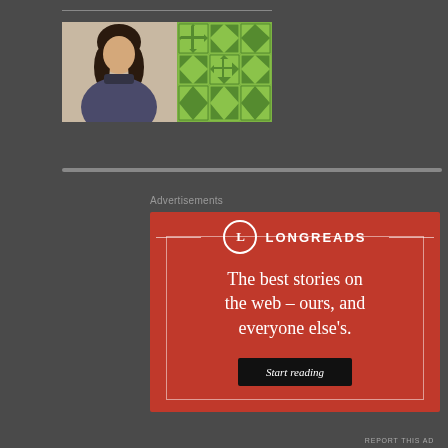[Figure (photo): Blog header area with a decorative logo image showing a woman and a green geometric quilt pattern, preceded by a horizontal line]
[Figure (illustration): Longreads advertisement on red background with logo circle containing 'L', text 'The best stories on the web – ours, and everyone else's.' and a black 'Start reading' button]
Advertisements
REPORT THIS AD